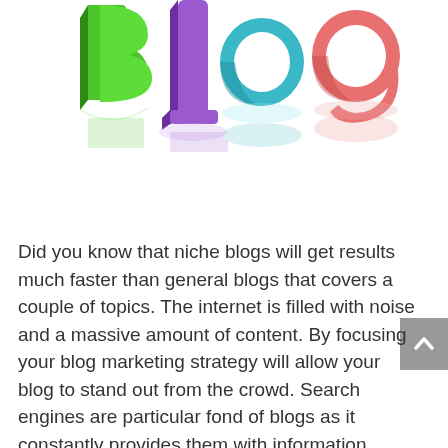[Figure (illustration): 3D colorful letters spelling 'Blog' — green B, purple l, teal o, and pink/salmon g — with reflections on a white surface]
Did you know that niche blogs will get results much faster than general blogs that covers a couple of topics. The internet is filled with noise and a massive amount of content. By focusing your blog marketing strategy will allow your blog to stand out from the crowd. Search engines are particular fond of blogs as it constantly provides them with information.
A niche blog is usually focused around a certain market segment. A blog focused only on internet marketing such as this would be considered for a niche blog. With an optimized blog, you can stand out from the crowd and also increase your business